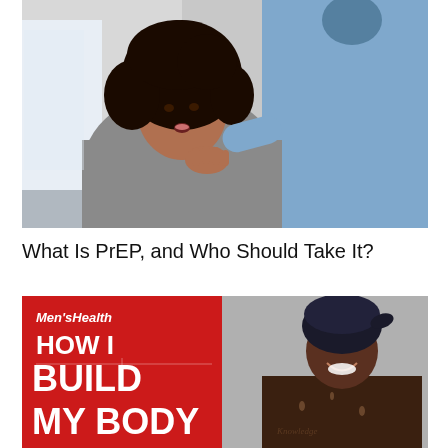[Figure (photo): A woman in a grey shirt with curly hair holds her hand to her chest while speaking with a healthcare provider in blue scrubs in a medical setting.]
What Is PrEP, and Who Should Take It?
[Figure (photo): Men's Health magazine cover feature showing a shirtless smiling man wearing a bandana, with red background and bold white text reading 'HOW I BUILD MY BODY' with Men'sHealth logo.]